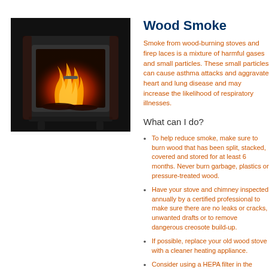[Figure (photo): Photo of a wood-burning stove with glowing orange fire visible through the glass door, set against a dark background]
Wood Smoke
Smoke from wood-burning stoves and fireplaces is a mixture of harmful gases and small particles. These small particles can cause asthma attacks and aggravate heart and lung disease and may increase the likelihood of respiratory illnesses.
What can I do?
To help reduce smoke, make sure to burn wood that has been split, stacked, covered and stored for at least 6 months. Never burn garbage, plastics or pressure-treated wood.
Have your stove and chimney inspected annually by a certified professional to make sure there are no leaks or cracks, unwanted drafts or to remove dangerous creosote build-up.
If possible, replace your old wood stove with a cleaner heating appliance.
Consider using a HEPA filter in the same room as your stove or fireplace.  Studies indicate that HEPA filters reduce indoor particle pollution by 60-90%.
Visit www.epa.gov/burnwise for more information.